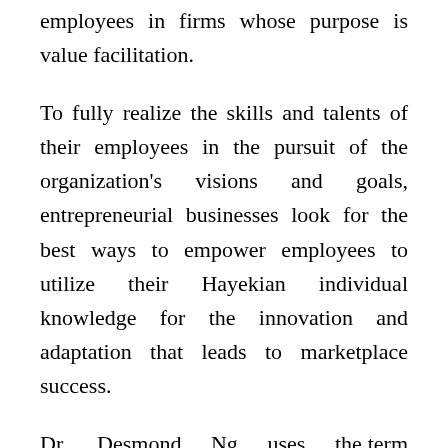employees in firms whose purpose is value facilitation.
To fully realize the skills and talents of their employees in the pursuit of the organization's visions and goals, entrepreneurial businesses look for the best ways to empower employees to utilize their Hayekian individual knowledge for the innovation and adaptation that leads to marketplace success.
Dr. Desmond Ng uses the term Entrepreneurial Empowerment to